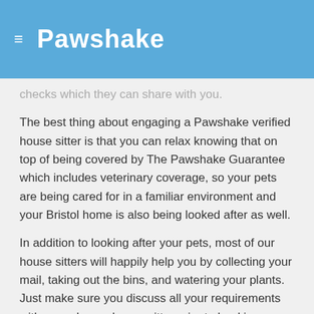Pawshake
checks which they can share with you.
The best thing about engaging a Pawshake verified house sitter is that you can relax knowing that on top of being covered by The Pawshake Guarantee which includes veterinary coverage, so your pets are being cared for in a familiar environment and your Bristol home is also being looked after as well.
In addition to looking after your pets, most of our house sitters will happily help you by collecting your mail, taking out the bins, and watering your plants. Just make sure you discuss all your requirements with your chosen house sitter prior to booking.
Pet owners book house sitting in Bristol on Pawshake. Over 347 pet owners in Bristol have left a review, with an average of 4.98/5. All paid safely using Maestro